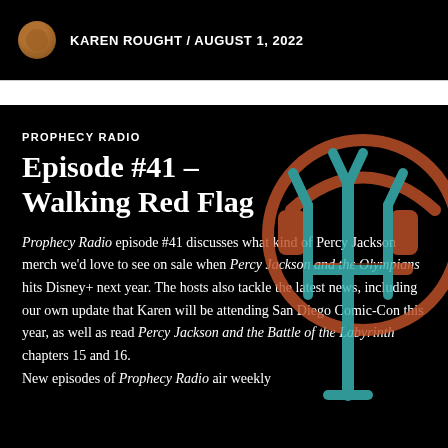KAREN ROUGHT / AUGUST 1, 2022
PROPHECY RADIO
Episode #41 – Walking Red Flag
Prophecy Radio episode #41 discusses what kind of Percy Jackson merch we'd love to see on sale when Percy Jackson and the Olympians hits Disney+ next year. The hosts also tackle the latest news, including our own update that Karen will be attending San Diego Comic-Con this year, as well as read Percy Jackson and the Battle of the Labyrinth chapters 15 and 16. New episodes of Prophecy Radio air weekly
[Figure (logo): Prophecy Radio logo: an orange headphones circle icon overlaid with a teal trident symbol]